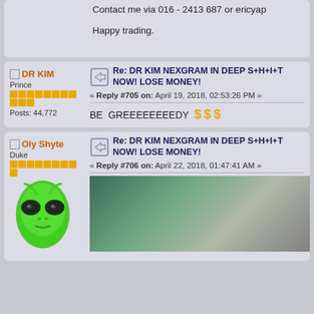Contact me via 016 - 2413 687 or ericyap
Happy trading.
DR KIM | Prince | Posts: 44,772
Re: DR KIM NEXGRAM IN DEEP S+H+I+T NOW! LOSE MONEY!
« Reply #705 on: April 19, 2018, 02:53:26 PM »
BE GREEEEEEEEDY 💲 💲 💲
Oly Shyte | Duke
Re: DR KIM NEXGRAM IN DEEP S+H+I+T NOW! LOSE MONEY!
« Reply #706 on: April 22, 2018, 01:47:41 AM »